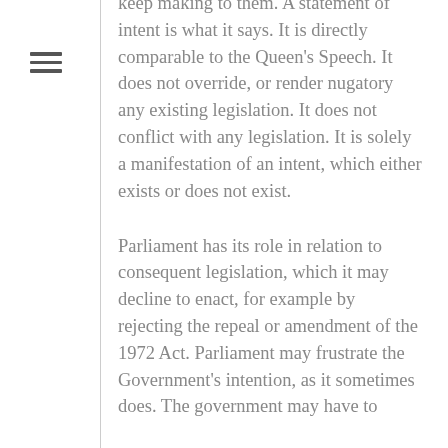keep making to them. A statement of intent is what it says. It is directly comparable to the Queen's Speech. It does not override, or render nugatory any existing legislation. It does not conflict with any legislation. It is solely a manifestation of an intent, which either exists or does not exist.
Parliament has its role in relation to consequent legislation, which it may decline to enact, for example by rejecting the repeal or amendment of the 1972 Act. Parliament may frustrate the Government's intention, as it sometimes does. The government may have to